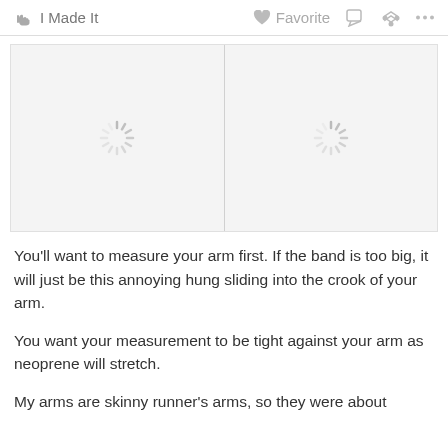I Made It   Favorite
[Figure (screenshot): Two image placeholders with loading spinners side by side on a light gray background]
You'll want to measure your arm first. If the band is too big, it will just be this annoying hung sliding into the crook of your arm.
You want your measurement to be tight against your arm as neoprene will stretch.
My arms are skinny runner's arms, so they were about